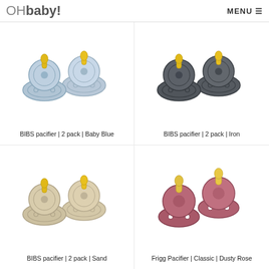OHbaby! MENU
[Figure (photo): Two BIBS pacifiers in Baby Blue color with yellow nipples]
BIBS pacifier | 2 pack | Baby Blue
[Figure (photo): Two BIBS pacifiers in Iron (dark gray) color with yellow nipples]
BIBS pacifier | 2 pack | Iron
[Figure (photo): Two BIBS pacifiers in Sand (beige) color with yellow nipples]
BIBS pacifier | 2 pack | Sand
[Figure (photo): Two Frigg Pacifiers in Dusty Rose (mauve-pink) color with yellow nipples, Classic style]
Frigg Pacifier | Classic | Dusty Rose